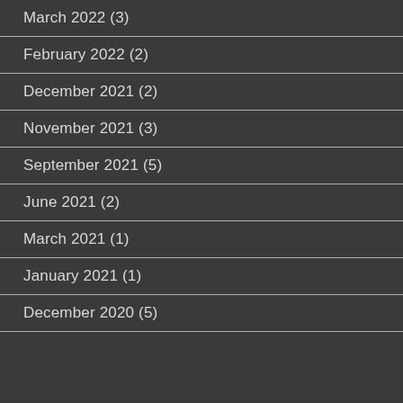March 2022 (3)
February 2022 (2)
December 2021 (2)
November 2021 (3)
September 2021 (5)
June 2021 (2)
March 2021 (1)
January 2021 (1)
December 2020 (5)